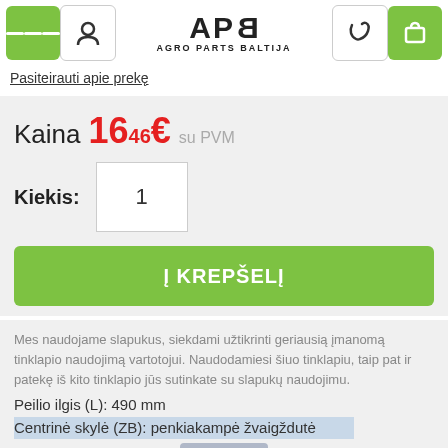[Figure (screenshot): Agro Parts Baltija website header with navigation buttons (hamburger menu, user icon, logo, phone, cart)]
Pasiteirauti apie prekę
Kaina 16.46€ su PVM
Kiekis: 1
Į KREPŠELĮ
Mes naudojame slapukus, siekdami užtikrinti geriausią įmanomą tinklapio naudojimą vartotojui. Naudodamiesi šiuo tinklapiu, taip pat ir patekę iš kito tinklapio jūs sutinkate su slapukų naudojimu.
Peilio ilgis (L): 490 mm
Centrinė skylė (ZB): penkiakampė žvaigždutė